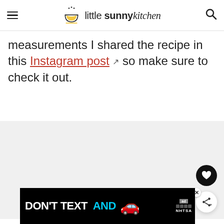little sunny kitchen
measurements I shared the recipe in this Instagram post so make sure to check it out.
[Figure (other): Gray placeholder image area for a photo]
[Figure (other): Advertisement banner: DON'T TEXT AND [car emoji] with ad label and NHTSA branding]